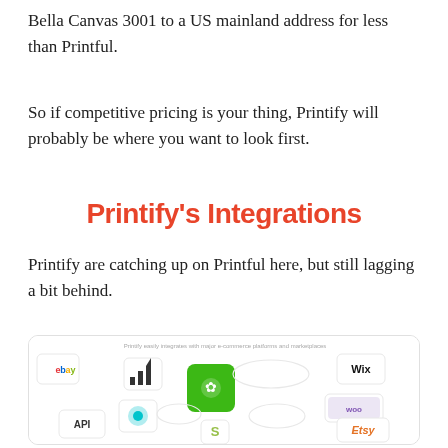Bella Canvas 3001 to a US mainland address for less than Printful.
So if competitive pricing is your thing, Printify will probably be where you want to look first.
Printify's Integrations
Printify are catching up on Printful here, but still lagging a bit behind.
[Figure (infographic): Printify integrations diagram showing logos of eBay, Wix, WooCommerce, Etsy, Shopify, API, and other e-commerce platforms and marketplaces connected around a central Printify green logo icon.]